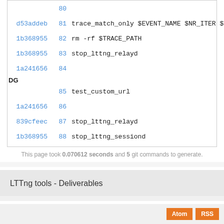| hash | line | code |
| --- | --- | --- |
|  | 80 |  |
| d53addeb | 81 | trace_match_only $EVENT_NAME $NR_ITER $TR... |
| 1b368955 | 82 | rm -rf $TRACE_PATH |
| 1b368955 | 83 | stop_lttng_relayd |
| 1a241656 | 84 |  |
| DG |  |  |
|  | 85 | test_custom_url |
| 1a241656 | 86 |  |
| 839cfeec | 87 | stop_lttng_relayd |
| 1b368955 | 88 | stop_lttng_sessiond |
This page took 0.070612 seconds and 5 git commands to generate.
LTTng tools - Deliverables
Atom  RSS